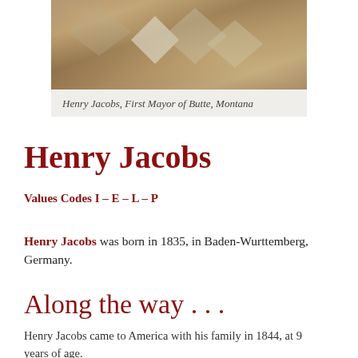[Figure (photo): Sepia-toned photo with diamond/quilt pattern, presumably showing Henry Jacobs, First Mayor of Butte, Montana]
Henry Jacobs, First Mayor of Butte, Montana
Henry Jacobs
Values Codes I – E – L – P
Henry Jacobs was born in 1835, in Baden-Wurttemberg, Germany.
Along the way . . .
Henry Jacobs came to America with his family in 1844, at 9 years of age.